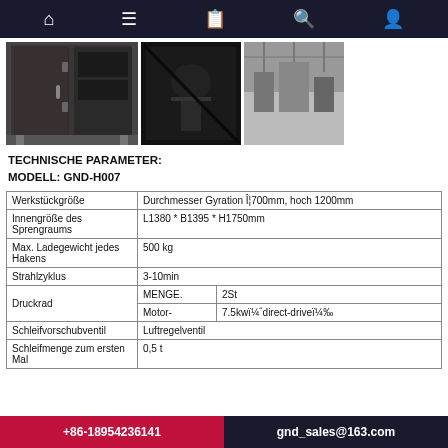[Figure (photo): Navigation bar with home, menu, document, search, and user icons on dark background]
[Figure (photo): Three product photos: left shows dark metal shot blasting machine cabinet with door, middle shows dark interior, right shows industrial facility]
TECHNISCHE PARAMETER:
MODELL: GND-H007
| Werkstückgröße |  | Durchmesser Gyration Î¦700mm, hoch 1200mm |
| Innengröße des Sprengraums |  | L1380 * B1395 * H1750mm |
| Max. Ladegewicht jedes Hakens |  | 500 kg |
| Strahlzyklus |  | 3-10min |
| Druckrad | MENGE. | 2St |
| Druckrad | Motor- | 7.5kwï¼ˆdirect-driveï¼‰ |
| Schleifvorschubventil |  | Luftregelventil |
| Schleifmenge zum ersten Mal |  | 0,5 t |
+86-18954236141    gnd_sales@163.com